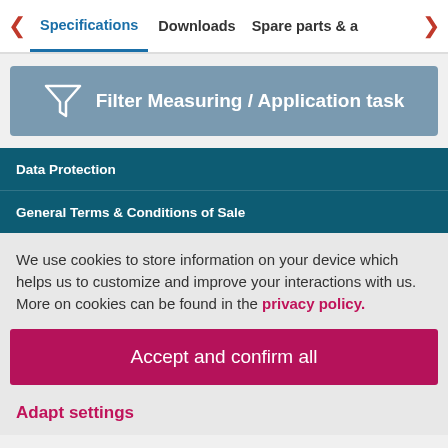Specifications   Downloads   Spare parts & a
[Figure (other): Filter Measuring / Application task button with funnel icon]
Data Protection
General Terms & Conditions of Sale
We use cookies to store information on your device which helps us to customize and improve your interactions with us. More on cookies can be found in the privacy policy.
Accept and confirm all
Adapt settings